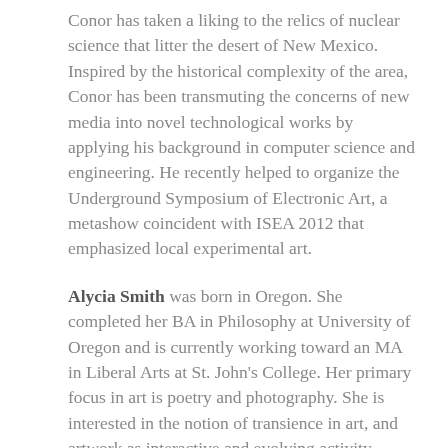Conor has taken a liking to the relics of nuclear science that litter the desert of New Mexico. Inspired by the historical complexity of the area, Conor has been transmuting the concerns of new media into novel technological works by applying his background in computer science and engineering. He recently helped to organize the Underground Symposium of Electronic Art, a metashow coincident with ISEA 2012 that emphasized local experimental art.
Alycia Smith was born in Oregon. She completed her BA in Philosophy at University of Oregon and is currently working toward an MA in Liberal Arts at St. John's College. Her primary focus in art is poetry and photography. She is interested in the notion of transience in art, and artwork as interactive and evolving activity.